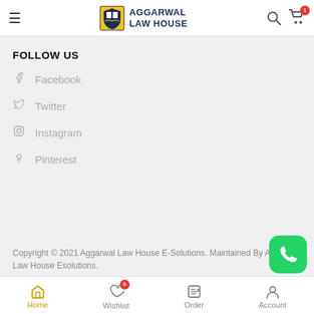AGGARWAL LAW HOUSE
FOLLOW US
Facebook
Twitter
Instagram
Pinterest
Copyright © 2021 Aggarwal Law House E-Solutions. Maintained By Aggarwal Law House Esolutions.
Home  Wishlist  Order  Account